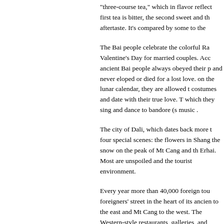"three-course tea," which in flavor reflect... first tea is bitter, the second sweet and th... aftertaste. It's compared by some to the...
The Bai people celebrate the colorful Ra... Valentine's Day for married couples. Acc... ancient Bai people always obeyed their p... and never eloped or died for a lost love. ... on the lunar calendar, they are allowed t... costumes and date with their true love. T... which they sing and dance to bandore (s... music .
The city of Dali, which dates back more t... four special scenes: the flowers in Shang... the snow on the peak of Mt Cang and th... Erhai. Most are unspoiled and the tourist... environment.
Every year more than 40,000 foreign tou... foreigners' street in the heart of its ancien... to the east and Mt Cang to the west. The... Western-style restaurants, galleries, and... handicrafts, hiking equipment and other ...
It takes about four hours to drive from Da... th...